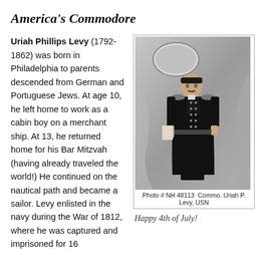America's Commodore
Uriah Phillips Levy (1792-1862) was born in Philadelphia to parents descended from German and Portuguese Jews. At age 10, he left home to work as a cabin boy on a merchant ship. At 13, he returned home for his Bar Mitzvah (having already traveled the world!) He continued on the nautical path and became a sailor. Levy enlisted in the navy during the War of 1812, where he was captured and imprisoned for 16
[Figure (photo): Black and white portrait photograph of Commodore Uriah P. Levy, USN, standing in full naval uniform with epaulettes, holding a document, with a painted backdrop behind him. Caption reads: Photo # NH 48113  Commo. Uriah P. Levy, USN]
Happy 4th of July!